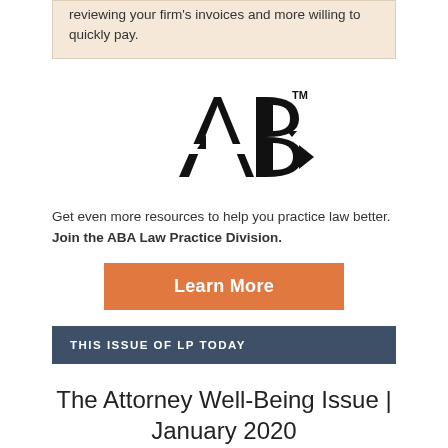reviewing your firm's invoices and more willing to quickly pay.
[Figure (logo): ABA (American Bar Association) logo in black with TM mark]
Get even more resources to help you practice law better. Join the ABA Law Practice Division.
Learn More
THIS ISSUE OF LP TODAY
The Attorney Well-Being Issue | January 2020